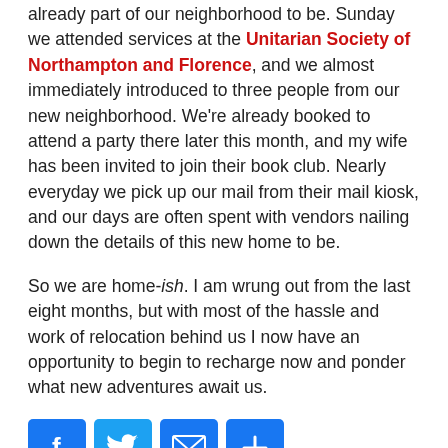already part of our neighborhood to be. Sunday we attended services at the Unitarian Society of Northampton and Florence, and we almost immediately introduced to three people from our new neighborhood. We're already booked to attend a party there later this month, and my wife has been invited to join their book club. Nearly everyday we pick up our mail from their mail kiosk, and our days are often spent with vendors nailing down the details of this new home to be.
So we are home-ish. I am wrung out from the last eight months, but with most of the hassle and work of relocation behind us I now have an opportunity to begin to recharge now and ponder what new adventures await us.
[Figure (infographic): Four social sharing buttons: Facebook (blue), Twitter (light blue), Email (blue), Share/Plus (blue)]
Category: Life 2015, Travel Tagged Commuting, Home selling, House settlements, Moving, Traffic, Virginia  Leave a comment/
My Hum Drum but